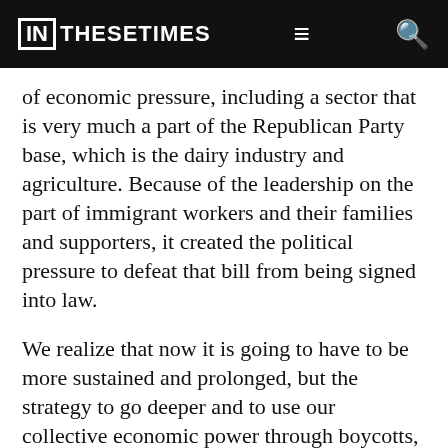IN THESE TIMES
of economic pressure, including a sector that is very much a part of the Republican Party base, which is the dairy industry and agriculture. Because of the leadership on the part of immigrant workers and their families and supporters, it created the political pressure to defeat that bill from being signed into law.
We realize that now it is going to have to be more sustained and prolonged, but the strategy to go deeper and to use our collective economic power through boycotts, through strikes, is critical under the Trump administration to defeat the immigration executive order and to push back against this broader anti-civil rights, anti-worker agenda.